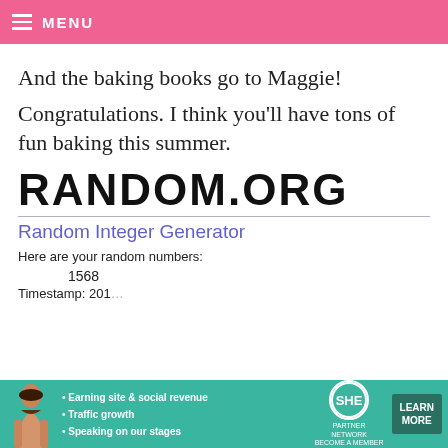MENU
And the baking books go to Maggie!
Congratulations. I think you’ll have tons of fun baking this summer.
[Figure (screenshot): RANDOM.ORG Random Integer Generator screenshot showing number 1568 and a tooltip overlay with Maggie’s comment listing top 5 books: Surprise-inside cakes, Glorious Layered Desserts, Trophy Cupcakes & Parties, Merinque girls, Pure Vanilla. Timestamp: May 29, 2014 10:38 AM]
[Figure (infographic): SHE Partner Network advertisement banner with a woman, bullet points about earning, traffic growth, speaking on stages, SHE logo, and Learn More button]